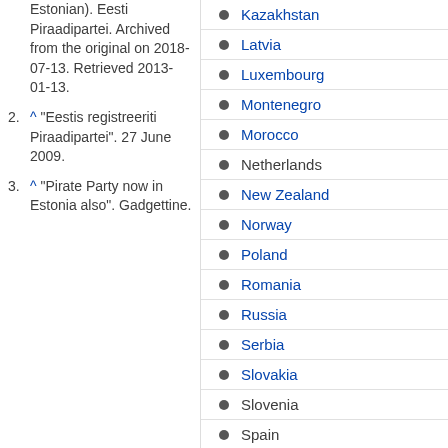Estonian). Eesti Piraadipartei. Archived from the original on 2018-07-13. Retrieved 2013-01-13.
^ "Eestis registreeriti Piraadipartei". 27 June 2009.
^ "Pirate Party now in Estonia also". Gadgettine.
Kazakhstan
Latvia
Luxembourg
Montenegro
Morocco
Netherlands
New Zealand
Norway
Poland
Romania
Russia
Serbia
Slovakia
Slovenia
Spain
Sweden
Switzerland